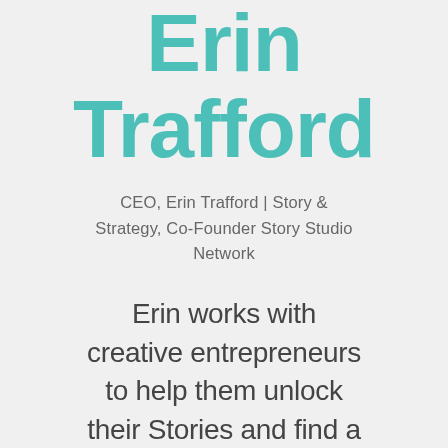Erin Trafford
CEO, Erin Trafford | Story & Strategy, Co-Founder Story Studio Network
Erin works with creative entrepreneurs to help them unlock their Stories and find a